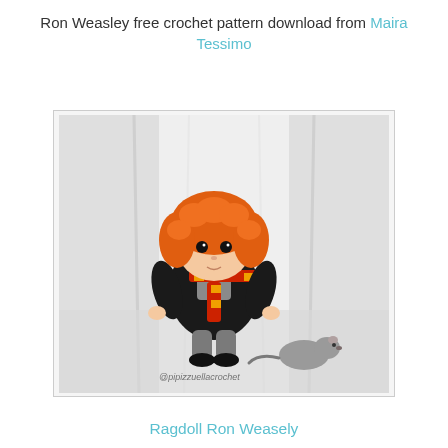Ron Weasley free crochet pattern download from Maira Tessimo
[Figure (photo): Photo of a crocheted amigurumi doll of Ron Weasley wearing Hogwarts robes, red and gold Gryffindor scarf, with orange/red hair, sitting next to a small crocheted grey rat (Scabbers). Watermark reads @pipizzuellacrochet.]
Ragdoll Ron Weasely